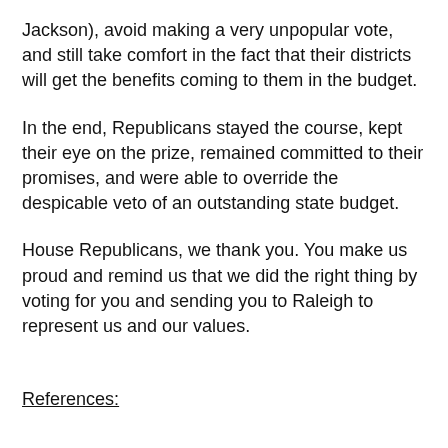Jackson), avoid making a very unpopular vote, and still take comfort in the fact that their districts will get the benefits coming to them in the budget.
In the end, Republicans stayed the course, kept their eye on the prize, remained committed to their promises, and were able to override the despicable veto of an outstanding state budget.
House Republicans, we thank you. You make us proud and remind us that we did the right thing by voting for you and sending you to Raleigh to represent us and our values.
References: